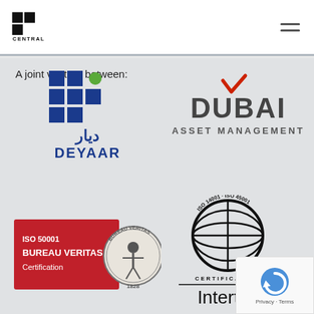Central Park Towers | Menu
A joint venture between:
[Figure (logo): Deyaar logo: grid of blue squares with a green dot, Arabic text above 'DEYAAR' in blue]
[Figure (logo): Dubai Asset Management logo: DUBAI text with red checkmark accent above the letter A, ASSET MANAGEMENT below in dark text]
[Figure (logo): Bureau Veritas Certification logo: red rectangle with ISO 50001, BUREAU VERITAS Certification text, circular seal with figure and 1828]
[Figure (logo): Intertek certification logo: globe/grid circle with ISO 14001 ISO 45001 text around it, CERTIFICATION below, TM mark, Intertek name below line]
[Figure (logo): Google reCAPTCHA widget overlay in bottom right corner showing reCAPTCHA circular arrow logo and Privacy - Terms text]